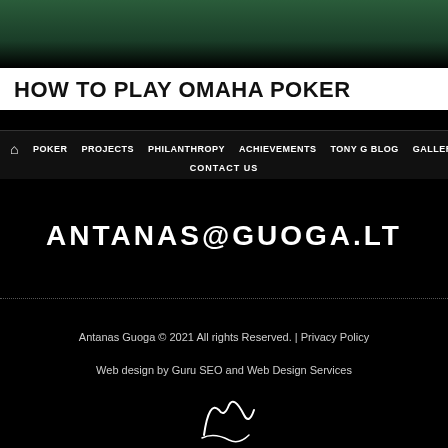[Figure (photo): Dark green poker table banner image at top of page]
HOW TO PLAY OMAHA POKER
⌂ POKER  PROJECTS  PHILANTHROPY  ACHIEVEMENTS  TONY G BLOG  GALLERY  FAQS  CONTACT US
ANTANAS@GUOGA.LT
Antanas Guoga © 2021 All rights Reserved. | Privacy Policy
Web design by Guru SEO and Web Design Services